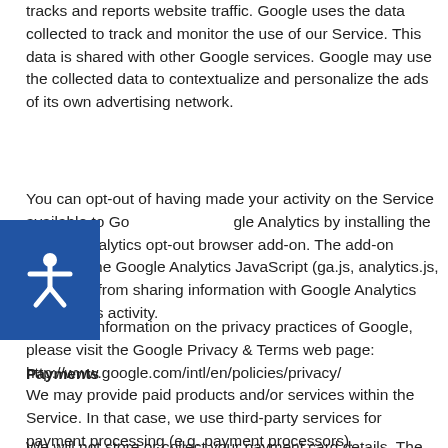tracks and reports website traffic. Google uses the data collected to track and monitor the use of our Service. This data is shared with other Google services. Google may use the collected data to contextualize and personalize the ads of its own advertising network.
You can opt-out of having made your activity on the Service available to Google Analytics by installing the Google Analytics opt-out browser add-on. The add-on prevents the Google Analytics JavaScript (ga.js, analytics.js, and dc.js) from sharing information with Google Analytics about visits activity.
For more information on the privacy practices of Google, please visit the Google Privacy & Terms web page: http://www.google.com/intl/en/policies/privacy/
Payments
We may provide paid products and/or services within the Service. In that case, we use third-party services for payment processing (e.g. payment processors).
We will not store or collect your payment card details. That